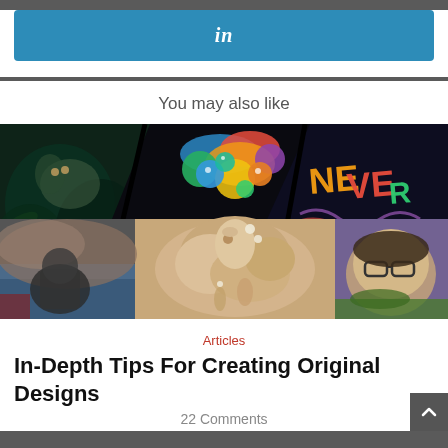[Figure (logo): LinkedIn button — blue rounded rectangle with 'in' in white italic text]
You may also like
[Figure (photo): Collage of creative digital artworks arranged in overlapping diagonal strips: fantasy creature, colorful 3D abstract with spheres and liquid shapes, NEVER text with neon colors, sculptural cream figure, moody landscape with giant figure, and a person with glasses.]
Articles
In-Depth Tips For Creating Original Designs
22 Comments